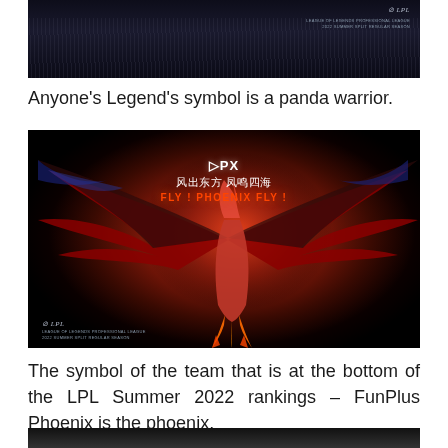[Figure (photo): Dark atmospheric promotional image with a dark background showing reed-like vertical elements, LPL (League of Legends Professional League) branding in top right corner, 2022 Summer Split Regular Season text]
Anyone's Legend's symbol is a panda warrior.
[Figure (photo): FPX (FunPlus Phoenix) LPL promotional image showing a dramatic phoenix bird with red and dark feathers spread wide against a glowing red background. Text reads: FPX, 风出东方 凤鸣四海, FLY ! PHOENIX FLY ! LPL League of Legends Professional League 2022 Summer Split Regular Season]
The symbol of the team that is at the bottom of the LPL Summer 2022 rankings – FunPlus Phoenix is the phoenix.
[Figure (photo): Partial view of another LPL promotional image, dark background with LPL branding visible]